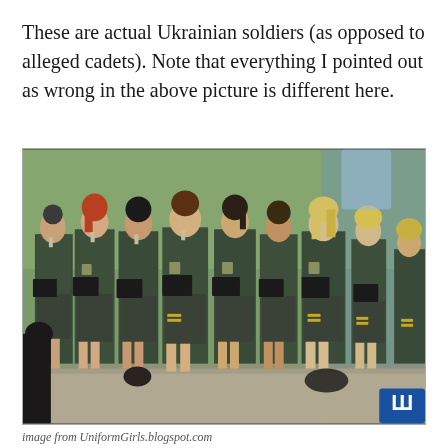These are actual Ukrainian soldiers (as opposed to alleged cadets). Note that everything I pointed out as wrong in the above picture is different here.
[Figure (photo): A row of seven women in dark military uniforms with skirts, badges on sleeves, standing with heads bowed and holding dark books or folders, outdoors with blurred green background.]
image from UniformGirls.blogspot.com